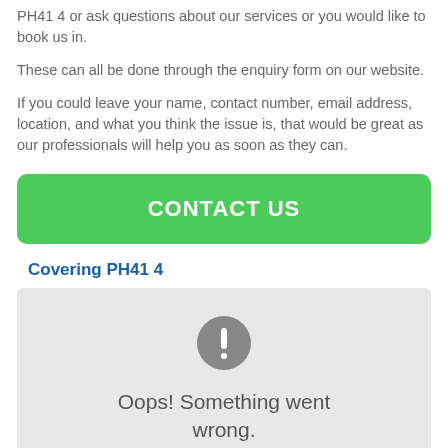PH41 4 or ask questions about our services or you would like to book us in.
These can all be done through the enquiry form on our website.
If you could leave your name, contact number, email address, location, and what you think the issue is, that would be great as our professionals will help you as soon as they can.
CONTACT US
Covering PH41 4
[Figure (screenshot): Map error placeholder with exclamation icon and text 'Oops! Something went wrong.']